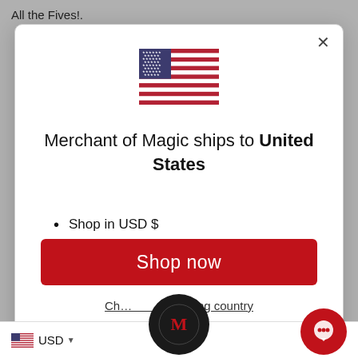All the Fives!.
[Figure (screenshot): Modal dialog showing US flag, shipping info for United States, bullet points for USD and shipping options, a red Shop now button, and a Change shipping country link]
Merchant of Magic ships to United States
Shop in USD $
Get shipping options for United States
Shop now
Change shipping country
USD